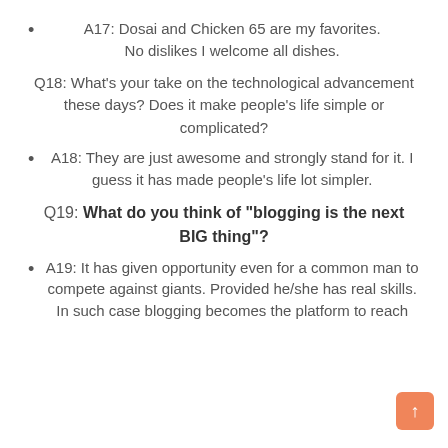A17: Dosai and Chicken 65 are my favorites. No dislikes I welcome all dishes.
Q18: What's your take on the technological advancement these days? Does it make people's life simple or complicated?
A18: They are just awesome and strongly stand for it. I guess it has made people's life lot simpler.
Q19: What do you think of “blogging is the next BIG thing”?
A19: It has given opportunity even for a common man to compete against giants. Provided he/she has real skills. In such case blogging becomes the platform to reach